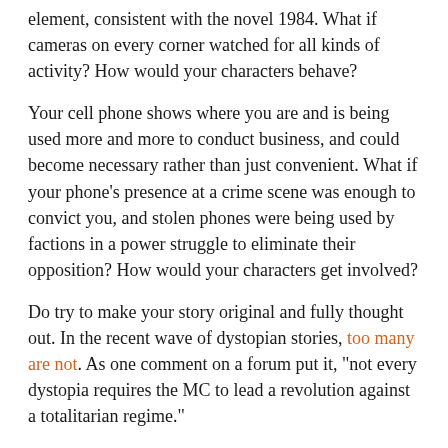element, consistent with the novel 1984. What if cameras on every corner watched for all kinds of activity?  How would your characters behave?
Your cell phone shows where you are and is being used more and more to conduct business, and could become necessary rather than just convenient. What if your phone’s presence at a crime scene was enough to convict you, and stolen phones were being used by factions in a power struggle to eliminate their opposition?  How would your characters get involved?
Do try to make your story original and fully thought out.  In the recent wave of dystopian stories, too many are not.  As one comment on a forum put it, “not every dystopia requires the MC to lead a revolution against a totalitarian regime.”
This article, and this one give more tips.